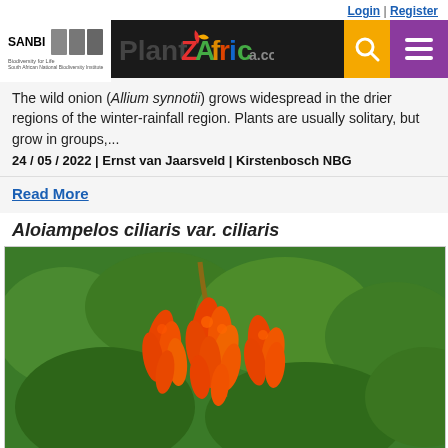Login | Register
[Figure (logo): SANBI and PlantZAfrica.com navigation header with search and menu buttons]
The wild onion (Allium synnotii) grows widespread in the drier regions of the winter-rainfall region. Plants are usually solitary, but grow in groups,...
24 / 05 / 2022 | Ernst van Jaarsveld | Kirstenbosch NBG
Read More
Aloiampelos ciliaris var. ciliaris
[Figure (photo): Close-up photograph of Aloiampelos ciliaris var. ciliaris showing clusters of orange tubular flowers hanging downward against green foliage background]